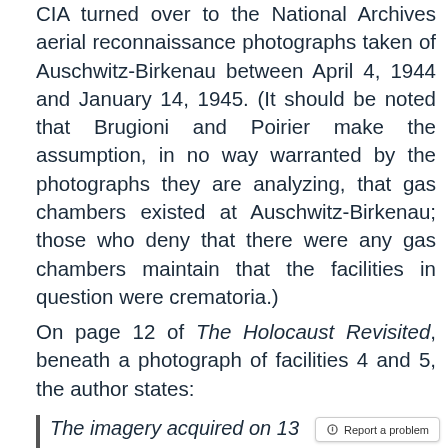CIA turned over to the National Archives aerial reconnaissance photographs taken of Auschwitz-Birkenau between April 4, 1944 and January 14, 1945. (It should be noted that Brugioni and Poirier make the assumption, in no way warranted by the photographs they are analyzing, that gas chambers existed at Auschwitz-Birkenau; those who deny that there were any gas chambers maintain that the facilities in question were crematoria.)
On page 12 of The Holocaust Revisited, beneath a photograph of facilities 4 and 5, the author states:
The imagery acquired on 13 September 1944 provides a unique